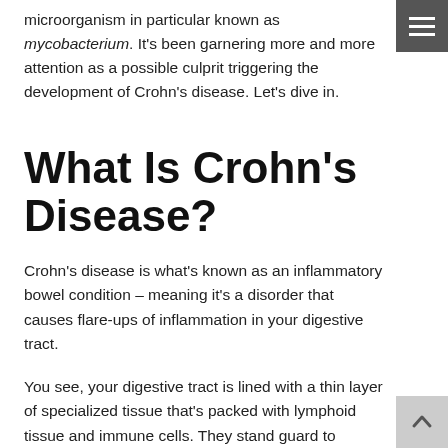microorganism in particular known as mycobacterium. It's been garnering more and more attention as a possible culprit triggering the development of Crohn's disease. Let's dive in.
What Is Crohn's Disease?
Crohn's disease is what's known as an inflammatory bowel condition – meaning it's a disorder that causes flare-ups of inflammation in your digestive tract.
You see, your digestive tract is lined with a thin layer of specialized tissue that's packed with lymphoid tissue and immune cells. They stand guard to protect you against harmful microbes or toxins that sneak their way in through the food and drinks...